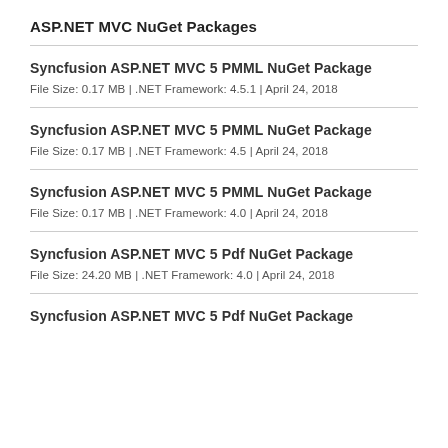ASP.NET MVC NuGet Packages
Syncfusion ASP.NET MVC 5 PMML NuGet Package
File Size: 0.17 MB | .NET Framework: 4.5.1 | April 24, 2018
Syncfusion ASP.NET MVC 5 PMML NuGet Package
File Size: 0.17 MB | .NET Framework: 4.5 | April 24, 2018
Syncfusion ASP.NET MVC 5 PMML NuGet Package
File Size: 0.17 MB | .NET Framework: 4.0 | April 24, 2018
Syncfusion ASP.NET MVC 5 Pdf NuGet Package
File Size: 24.20 MB | .NET Framework: 4.0 | April 24, 2018
Syncfusion ASP.NET MVC 5 Pdf NuGet Package